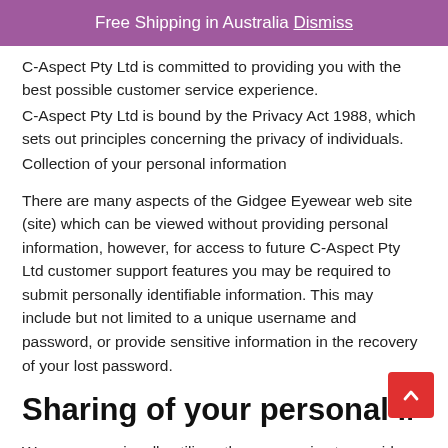Free Shipping in Australia Dismiss
C-Aspect Pty Ltd is committed to providing you with the best possible customer service experience.
C-Aspect Pty Ltd is bound by the Privacy Act 1988, which sets out principles concerning the privacy of individuals.
Collection of your personal information
There are many aspects of the Gidgee Eyewear web site (site) which can be viewed without providing personal information, however, for access to future C-Aspect Pty Ltd customer support features you may be required to submit personally identifiable information. This may include but not limited to a unique username and password, or provide sensitive information in the recovery of your lost password.
Sharing of your personal information
We may occasionally utilise other companies to provide services on